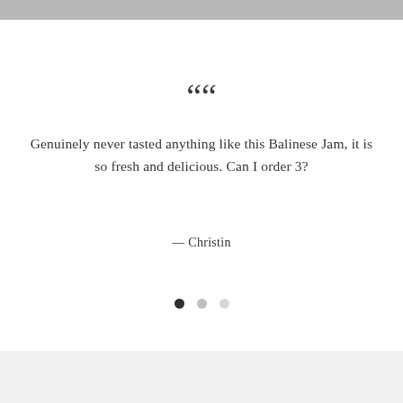““
Genuinely never tasted anything like this Balinese Jam, it is so fresh and delicious. Can I order 3?
— Christin
[Figure (other): Carousel navigation dots: three circles, first filled dark, second and third lighter]
[Figure (other): Light gray footer/bottom section bar]